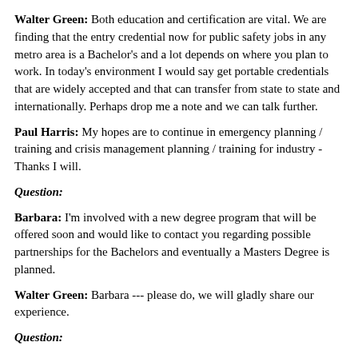Walter Green: Both education and certification are vital. We are finding that the entry credential now for public safety jobs in any metro area is a Bachelor's and a lot depends on where you plan to work. In today's environment I would say get portable credentials that are widely accepted and that can transfer from state to state and internationally. Perhaps drop me a note and we can talk further.
Paul Harris: My hopes are to continue in emergency planning / training and crisis management planning / training for industry - Thanks I will.
Question:
Barbara: I'm involved with a new degree program that will be offered soon and would like to contact you regarding possible partnerships for the Bachelors and eventually a Masters Degree is planned.
Walter Green: Barbara --- please do, we will gladly share our experience.
Question:
Jose Musse: I believe we need is South America teleconference, short seminars that help better emergency management system